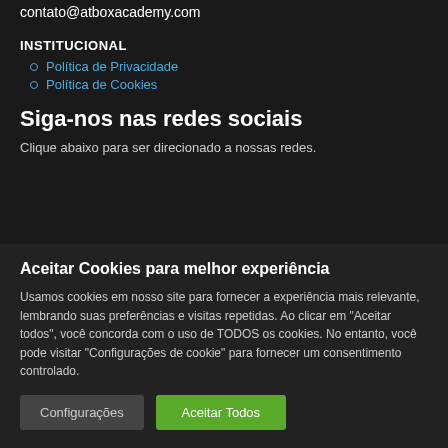contato@atboxacademy.com
INSTITUCIONAL
Política de Privacidade
Política de Cookies
Siga-nos nas redes sociais
Clique abaixo para ser direcionado a nossas redes.
Aceitar Cookies para melhor experiência
Usamos cookies em nosso site para fornecer a experiência mais relevante, lembrando suas preferências e visitas repetidas. Ao clicar em "Aceitar todos", você concorda com o uso de TODOS os cookies. No entanto, você pode visitar "Configurações de cookie" para fornecer um consentimento controlado.
Configurações | Aceitar Todos